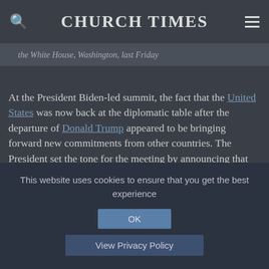CHURCH TIMES
the White House, Washington, last Friday
At the President Biden-led summit, the fact that the United States was now back at the diplomatic table after the departure of Donald Trump appeared to be bringing forward new commitments from other countries. The President set the tone for the meeting by announcing that the US would cut its greenhouse-gas emissions by between 50 to 52 per cent from 2005 levels by 2030, and would
This website uses cookies to ensure that you get the best experience
OK
View Privacy Policy